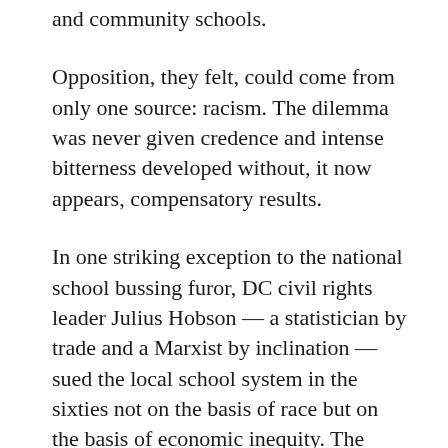and community schools.
Opposition, they felt, could come from only one source: racism. The dilemma was never given credence and intense bitterness developed without, it now appears, compensatory results.
In one striking exception to the national school bussing furor, DC civil rights leader Julius Hobson — a statistician by trade and a Marxist by inclination — sued the local school system in the sixties not on the basis of race but on the basis of economic inequity. The result was a court ruling ordering equal per-student spending among the city's schools, a law that stands to this day. Bussing never became an issue, except for a voluntary city-suburb